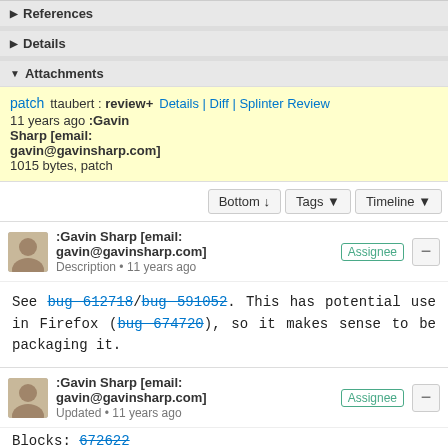▶ References
▼ Details
▼ Attachments
patch   ttaubert : review+   Details | Diff | Splinter Review
11 years ago :Gavin Sharp [email: gavin@gavinsharp.com]
1015 bytes, patch
Bottom ↓   Tags ▼   Timeline ▼
:Gavin Sharp [email: gavin@gavinsharp.com]   Assignee
Description • 11 years ago
See bug 612718/bug 591052. This has potential use in Firefox (bug 674720), so it makes sense to be packaging it.
:Gavin Sharp [email: gavin@gavinsharp.com]   Assignee
Updated • 11 years ago
Blocks: 672622